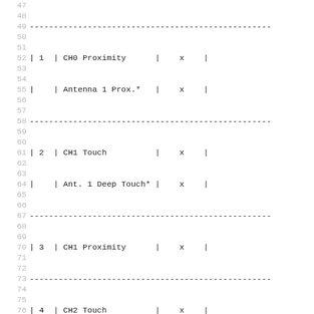| # | Name | x |
| --- | --- | --- |
| 1 | CH0 Proximity | x |
|  | Antenna 1 Prox.* | x |
| 2 | CH1 Touch | x |
|  | Ant. 1 Deep Touch* | x |
| 3 | CH1 Proximity | x |
| 4 | CH2 Touch | x |
| 5 | CH2 Proximity | x |
|  | Antenna 2 Prox.* | x |
| 6 | Metal (+) Touch** | x |
|  | Ant. 2 Deep Touch* | x |
| 7 | Metal (+) Prox.** | x |
|  | Antenna 2 Touch* | x |
| 8 | Metal (-) Touch** | x |
| 9 | Metal (-) Prox.** | x |
| 10 | SAR Active*** | x |
| 11 | SAR Quick Rel.*** | x |
| 12 | SAR Movement*** | x |